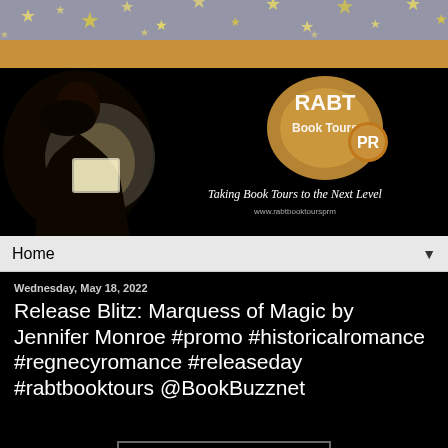[Figure (illustration): Top decorative banner with golden stars on a gray/blue background, transitioning to an orange band below]
[Figure (illustration): Website header image: dark background with silhouette of woman reading a glowing book on the left, and RABT Book Tours PR logo with tagline 'Taking Book Tours to the Next Level' and URL on the right]
Home ▼
Wednesday, May 18, 2022
Release Blitz: Marquess of Magic by Jennifer Monroe #promo #historicalromance #regnecyromance #releaseday #rabtbooktours @BookBuzznet